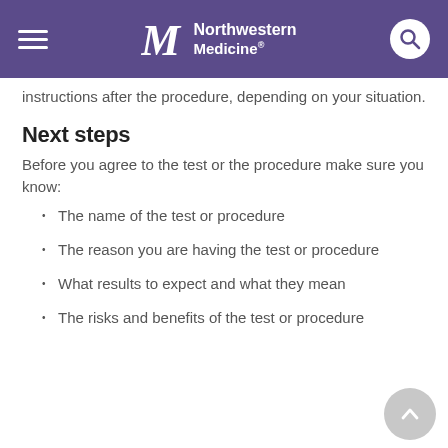Northwestern Medicine
instructions after the procedure, depending on your situation.
Next steps
Before you agree to the test or the procedure make sure you know:
The name of the test or procedure
The reason you are having the test or procedure
What results to expect and what they mean
The risks and benefits of the test or procedure